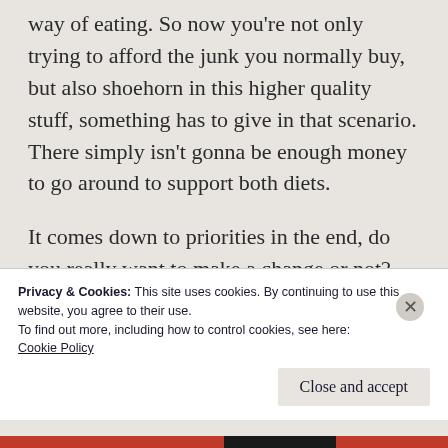way of eating. So now you're not only trying to afford the junk you normally buy, but also shoehorn in this higher quality stuff, something has to give in that scenario. There simply isn't gonna be enough money to go around to support both diets.
It comes down to priorities in the end, do you really want to make a change or not? What habit are you going to support? I really believe that healthy eating and a healthy lifestyle
Privacy & Cookies: This site uses cookies. By continuing to use this website, you agree to their use.
To find out more, including how to control cookies, see here:
Cookie Policy
Close and accept